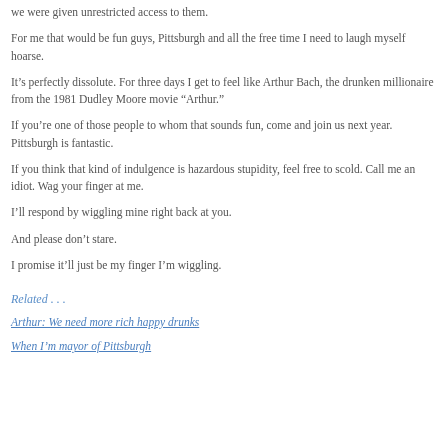we were given unrestricted access to them.
For me that would be fun guys, Pittsburgh and all the free time I need to laugh myself hoarse.
It's perfectly dissolute. For three days I get to feel like Arthur Bach, the drunken millionaire from the 1981 Dudley Moore movie “Arthur.”
If you’re one of those people to whom that sounds fun, come and join us next year. Pittsburgh is fantastic.
If you think that kind of indulgence is hazardous stupidity, feel free to scold. Call me an idiot. Wag your finger at me.
I’ll respond by wiggling mine right back at you.
And please don’t stare.
I promise it’ll just be my finger I’m wiggling.
Related . . .
Arthur: We need more rich happy drunks
When I’m mayor of Pittsburgh